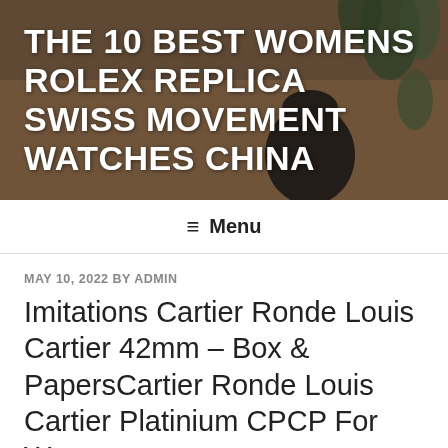[Figure (photo): Header banner photo showing a wooden table with a dark round vase/pot and green plants in the background, with a warm brown/gray toned background. Large bold white text overlaid reads 'THE 10 BEST WOMENS ROLEX REPLICA SWISS MOVEMENT WATCHES CHINA']
THE 10 BEST WOMENS ROLEX REPLICA SWISS MOVEMENT WATCHES CHINA
≡ Menu
MAY 10, 2022 BY ADMIN
Imitations Cartier Ronde Louis Cartier 42mm – Box & PapersCartier Ronde Louis Cartier Platinium CPCP For Women
Imitations Cartier Ronde Louis